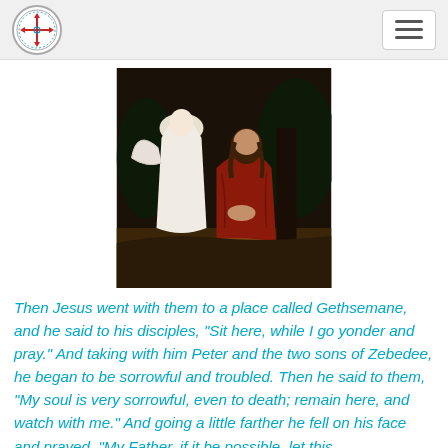[Navigation bar with logo and hamburger menu]
[Figure (illustration): Painting of Jesus kneeling in prayer at Gethsemane with an angel beside him, dressed in red robe, dark background with trees]
Then Jesus went with them to a place called Gethsemane, and he said to his disciples, “Sit here, while I go yonder and pray.” And taking with him Peter and the two sons of Zebedee, he began to be sorrowful and troubled. Then he said to them, “My soul is very sorrowful, even to death; remain here, and watch with me.” And going a little farther he fell on his face and prayed, “My Father, if it be possible, let this